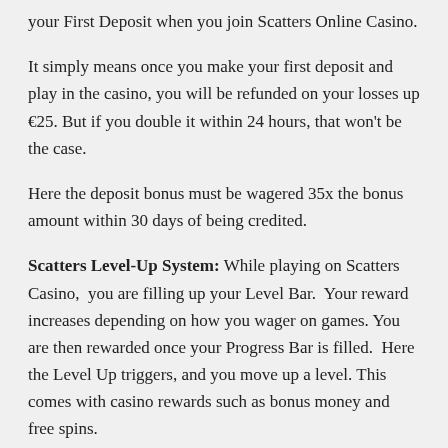your First Deposit when you join Scatters Online Casino.
It simply means once you make your first deposit and play in the casino, you will be refunded on your losses up €25. But if you double it within 24 hours, that won't be the case.
Here the deposit bonus must be wagered 35x the bonus amount within 30 days of being credited.
Scatters Level-Up System: While playing on Scatters Casino,  you are filling up your Level Bar.  Your reward increases depending on how you wager on games. You are then rewarded once your Progress Bar is filled.  Here the Level Up triggers, and you move up a level. This comes with casino rewards such as bonus money and free spins.